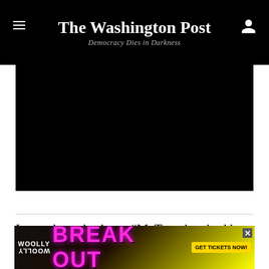The Washington Post — Democracy Dies in Darkness
[Figure (photo): Black image/video area below the header]
It now has a hashtag, #MeTwo, inspired by the #MeToo anti-sexual harassment movement. About 200,000 tweets — most of them containing anecdotal evidence of everyday racism — have so far been shared on
[Figure (other): Woolly Mammoth advertisement banner reading BREAK OUT with GET TICKETS NOW button]